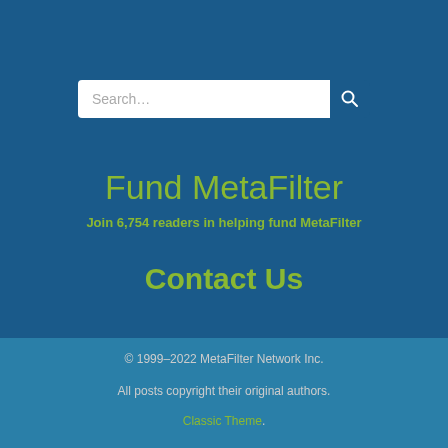[Figure (other): Search bar with text field showing 'Search...' placeholder and a search icon button on blue background]
Fund MetaFilter
Join 6,754 readers in helping fund MetaFilter
Contact Us
© 1999–2022 MetaFilter Network Inc.
All posts copyright their original authors.
Classic Theme.